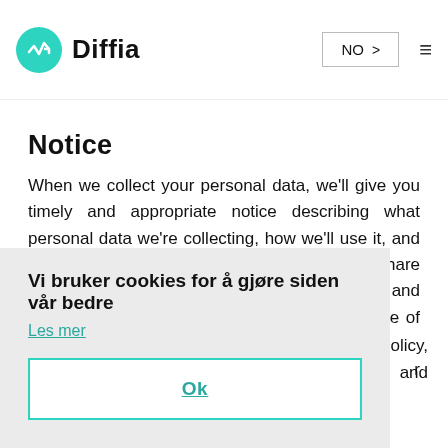Diffia  NO  ☰
Notice
When we collect your personal data, we'll give you timely and appropriate notice describing what personal data we're collecting, how we'll use it, and the types of third parties with whom we may share it. This Privacy Policy serves as such notice, and any changes to our collection, use or disclosure of your personal data will be reflected ... r
Vi bruker cookies for å gjøre siden vår bedre
Les mer
Ok
... olicy, and share your personal data, and we'll respect the